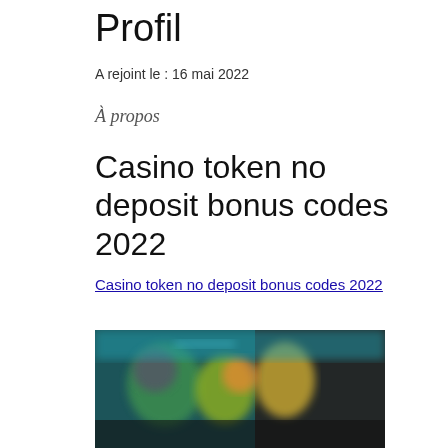Profil
A rejoint le : 16 mai 2022
À propos
Casino token no deposit bonus codes 2022
Casino token no deposit bonus codes 2022
[Figure (photo): Blurred screenshot of a casino or gaming website with colorful characters and dark background]